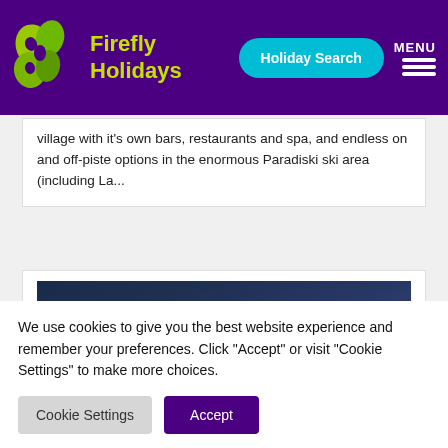[Figure (logo): Firefly Holidays logo with green butterfly/leaf graphic and yellow-green brand name on purple header background]
village with it's own bars, restaurants and spa, and endless on and off-piste options in the enormous Paradiski ski area (including La...
[Figure (photo): Partial view of a dark blue/night sky photograph in a white card]
We use cookies to give you the best website experience and remember your preferences. Click "Accept" or visit "Cookie Settings" to make more choices.